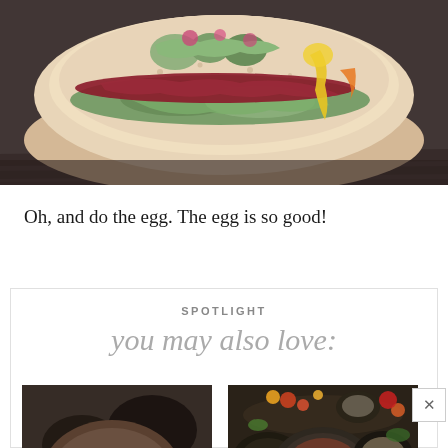[Figure (photo): Close-up food photo of a sandwich or burger with colorful toppings including green and red garnishes on a dark wooden surface]
Oh, and do the egg. The egg is so good!
SPOTLIGHT
you may also love:
[Figure (photo): Food photo showing eggs and other dishes, possibly brunch items on a dark table]
[Figure (photo): Overhead food photo showing various dishes, bowls and plates with colorful food on a dark wooden table]